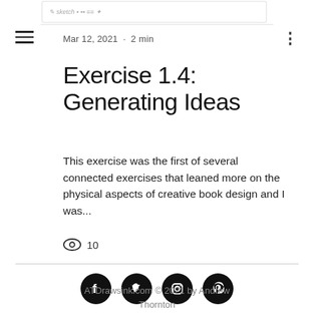[Figure (illustration): Hand-drawn sketch of book design elements as a page header banner]
Mar 12, 2021 · 2 min
Exercise 1.4: Generating Ideas
This exercise was the first of several connected exercises that leaned more on the physical aspects of creative book design and I was...
👁 10
[Figure (illustration): Social media icons: Facebook, Twitter, Instagram, Pinterest]
ATDrawsink.com © 2021 by Andrew Thornton